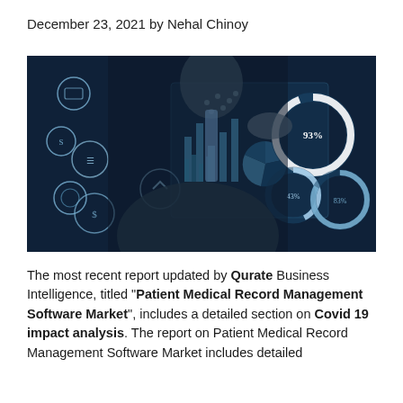December 23, 2021 by Nehal Chinoy
[Figure (photo): A person in a suit touching a digital holographic interface showing charts, bar graphs, pie charts, donut charts with percentages (93%, 83%, 43%), and data analytics icons against a dark blue background.]
The most recent report updated by Qurate Business Intelligence, titled "Patient Medical Record Management Software Market", includes a detailed section on Covid 19 impact analysis. The report on Patient Medical Record Management Software Market includes detailed